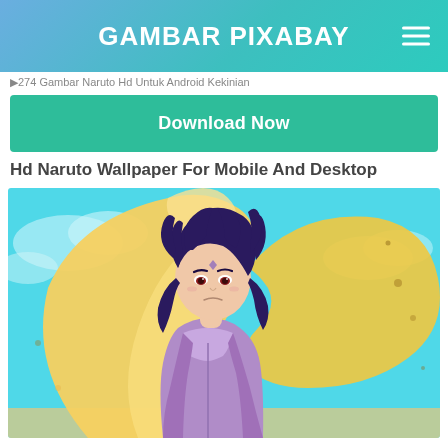GAMBAR PIXABAY
274 Gambar Naruto Hd Untuk Android Kekinian
Download Now
Hd Naruto Wallpaper For Mobile And Desktop
[Figure (illustration): Anime character (Sasuke from Naruto) with dark spiky hair and purple outfit, in front of large golden/yellow flame/wind effects, with blue sky background]